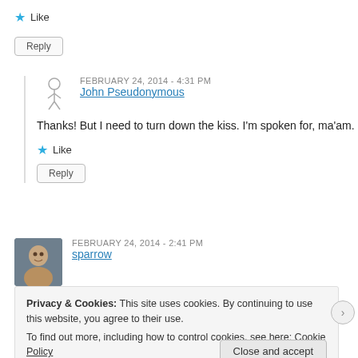★ Like
Reply
FEBRUARY 24, 2014 - 4:31 PM
John Pseudonymous
Thanks! But I need to turn down the kiss. I'm spoken for, ma'am.
★ Like
Reply
FEBRUARY 24, 2014 - 2:41 PM
sparrow
Privacy & Cookies: This site uses cookies. By continuing to use this website, you agree to their use.
To find out more, including how to control cookies, see here: Cookie Policy
Close and accept